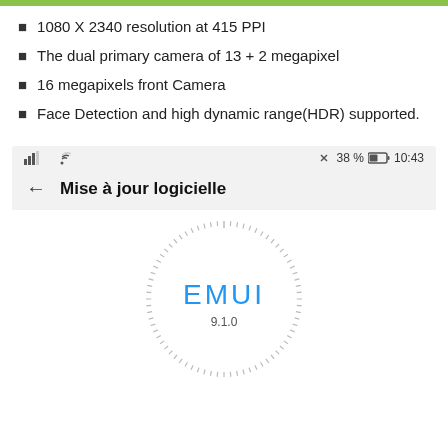1080 X 2340 resolution at 415 PPI
The dual primary camera of 13 + 2 megapixel
16 megapixels front Camera
Face Detection and high dynamic range(HDR) supported.
[Figure (screenshot): Android phone screenshot showing 'Mise à jour logicielle' (Software update) screen with EMUI 9.1.0 logo displayed in a circular dashed ring. Status bar shows signal, WiFi, alarm off, 38% battery, 10:43 time.]